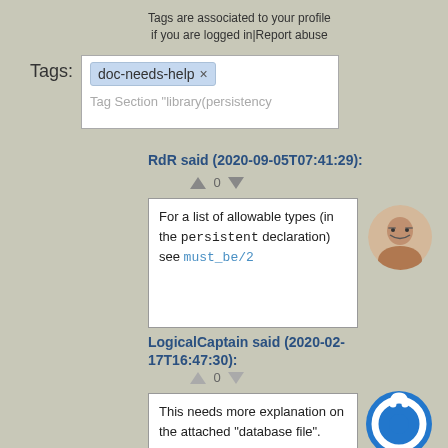Tags are associated to your profile if you are logged in|Report abuse
Tags: doc-needs-help ×
Tag Section "library(persistency
RdR said (2020-09-05T07:41:29):
For a list of allowable types (in the persistent declaration) see must_be/2
[Figure (photo): Circular avatar photo of a person with glasses]
LogicalCaptain said (2020-02-17T16:47:30):
This needs more explanation on the attached "database file".
[Figure (logo): Blue circular power button icon]